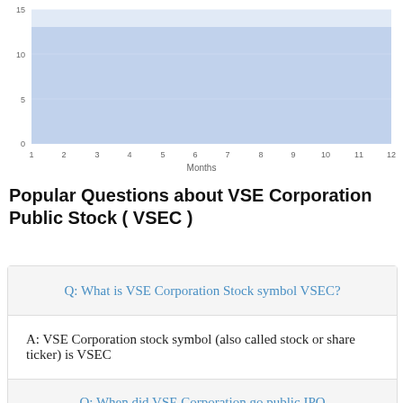[Figure (area-chart): ]
Popular Questions about VSE Corporation Public Stock ( VSEC )
Q: What is VSE Corporation Stock symbol VSEC?
A: VSE Corporation stock symbol (also called stock or share ticker) is VSEC
Q: When did VSE Corporation go public IPO (Initial Public Offering)?